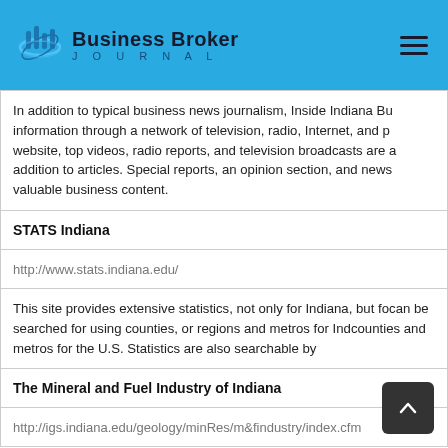Business Broker JOURNAL
In addition to typical business news journalism, Inside Indiana Bu... information through a network of television, radio, Internet, and p... website, top videos, radio reports, and television broadcasts are a... addition to articles. Special reports, an opinion section, and news... valuable business content.
STATS Indiana
http://www.stats.indiana.edu/
This site provides extensive statistics, not only for Indiana, but fo... can be searched for using counties, or regions and metros for Ind... counties and metros for the U.S. Statistics are also searchable by...
The Mineral and Fuel Industry of Indiana
http://igs.indiana.edu/geology/minRes/m&findustry/index.cfm